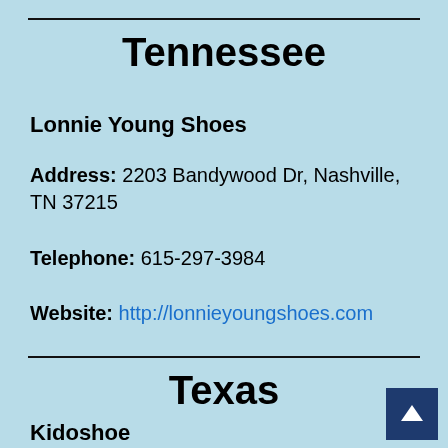Tennessee
Lonnie Young Shoes
Address: 2203 Bandywood Dr, Nashville, TN 37215
Telephone: 615-297-3984
Website: http://lonnieyoungshoes.com
Texas
Kidoshoe
Address: 2438 W Anderson Ln, Austin, TX